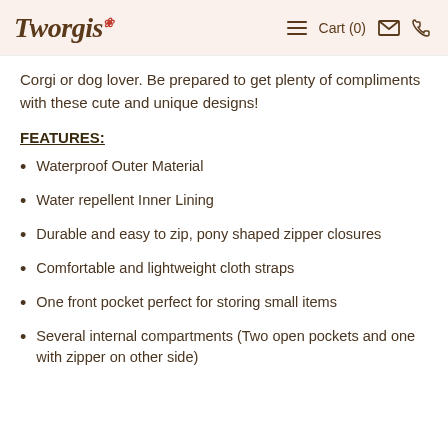Tworgis | Cart (0)
Corgi or dog lover. Be prepared to get plenty of compliments with these cute and unique designs!
FEATURES:
Waterproof Outer Material
Water repellent Inner Lining
Durable and easy to zip, pony shaped zipper closures
Comfortable and lightweight cloth straps
One front pocket perfect for storing small items
Several internal compartments (Two open pockets and one with zipper on other side)